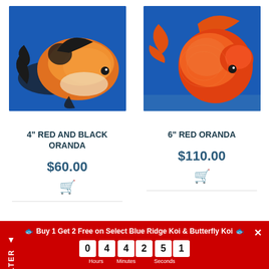[Figure (photo): Orange and black oranda goldfish swimming against blue background]
[Figure (photo): Red oranda goldfish swimming against blue background]
4" RED AND BLACK ORANDA
$60.00
6" RED ORANDA
$110.00
Buy 1 Get 2 Free on Select Blue Ridge Koi & Butterfly Koi
0 4  4 2  5 1  Hours Minutes Seconds